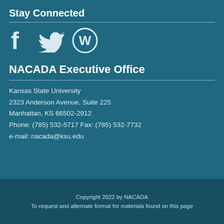Stay Connected
[Figure (illustration): Social media icons: Facebook (f), Twitter (bird), WordPress (W circle)]
NACADA Executive Office
Kansas State University
2323 Anderson Avenue, Suite 225
Manhattan, KS 66502-2912
Phone: (785) 532-5717 Fax: (785) 532-7732
e-mail: nacada@ksu.edu
Copyright 2022 by NACADA
To request and alternate format for materials found on this page